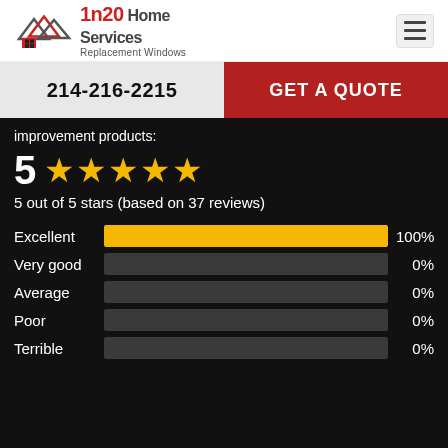[Figure (logo): 1n20 Home Services Replacement Windows logo with house/roof icon]
214-216-2215
GET A QUOTE
improvement products:
5 ★★★★★
5 out of 5 stars (based on 37 reviews)
[Figure (bar-chart): Rating breakdown]